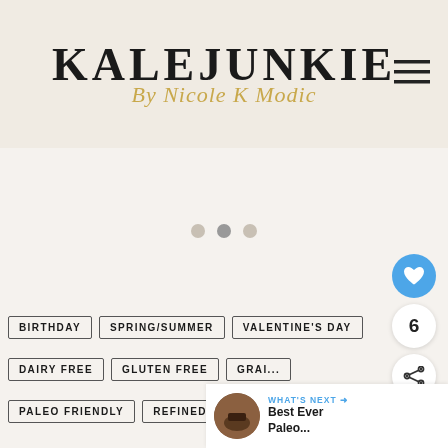KALEJUNKIE By Nicole K Modic
[Figure (screenshot): Loading spinner / carousel placeholder with three dots in center]
BIRTHDAY
SPRING/SUMMER
VALENTINE'S DAY
DAIRY FREE
GLUTEN FREE
GRAIN...
PALEO FRIENDLY
REFINED SUGAR FREE
6
WHAT'S NEXT → Best Ever Paleo...